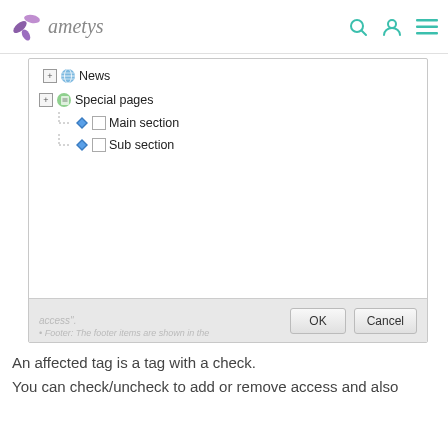[Figure (screenshot): Ametys CMS interface showing a tree navigation with nodes: News (collapsed), Special pages (expanded) with children Main section and Sub section (checkboxes). Bottom bar has OK and Cancel buttons.]
An affected tag is a tag with a check.
You can check/uncheck to add or remove access and also